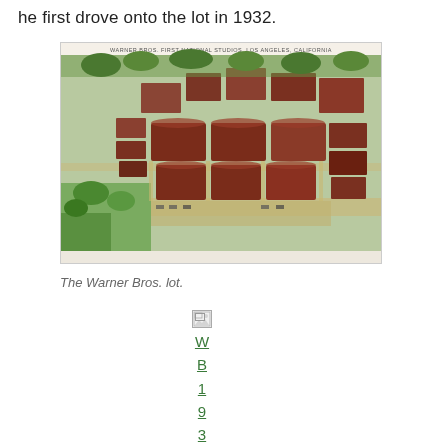he first drove onto the lot in 1932.
[Figure (photo): Aerial view postcard of Warner Bros. First National Studios, Los Angeles, California, showing large studio soundstages and surrounding buildings from above.]
The Warner Bros. lot.
[Figure (other): Broken image link placeholder showing 'WB1931' vertically in green underlined text, representing a missing linked image.]